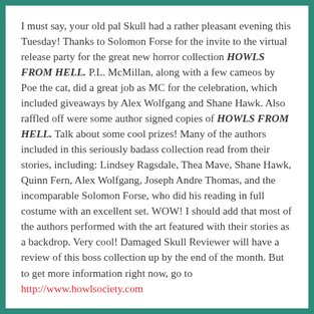I must say, your old pal Skull had a rather pleasant evening this Tuesday! Thanks to Solomon Forse for the invite to the virtual release party for the great new horror collection HOWLS FROM HELL. P.L. McMillan, along with a few cameos by Poe the cat, did a great job as MC for the celebration, which included giveaways by Alex Wolfgang and Shane Hawk. Also raffled off were some author signed copies of HOWLS FROM HELL. Talk about some cool prizes! Many of the authors included in this seriously badass collection read from their stories, including: Lindsey Ragsdale, Thea Mave, Shane Hawk, Quinn Fern, Alex Wolfgang, Joseph Andre Thomas, and the incomparable Solomon Forse, who did his reading in full costume with an excellent set. WOW! I should add that most of the authors performed with the art featured with their stories as a backdrop. Very cool! Damaged Skull Reviewer will have a review of this boss collection up by the end of the month. But to get more information right now, go to http://www.howlsociety.com